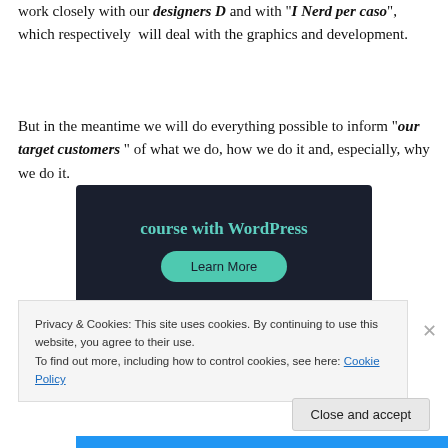work closely with our designers D and with "I Nerd per caso", which respectively will deal with the graphics and development.
But in the meantime we will do everything possible to inform "our target customers " of what we do, how we do it and, especially, why we do it.
[Figure (screenshot): Dark navy banner with teal text 'course with WordPress' and a teal rounded 'Learn More' button]
Privacy & Cookies: This site uses cookies. By continuing to use this website, you agree to their use.
To find out more, including how to control cookies, see here: Cookie Policy
Close and accept